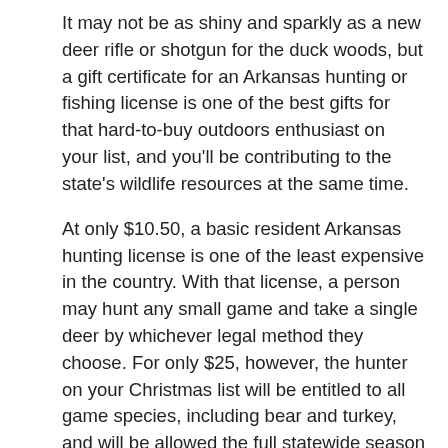It may not be as shiny and sparkly as a new deer rifle or shotgun for the duck woods, but a gift certificate for an Arkansas hunting or fishing license is one of the best gifts for that hard-to-buy outdoors enthusiast on your list, and you'll be contributing to the state's wildlife resources at the same time.
At only $10.50, a basic resident Arkansas hunting license is one of the least expensive in the country. With that license, a person may hunt any small game and take a single deer by whichever legal method they choose. For only $25, however, the hunter on your Christmas list will be entitled to all game species, including bear and turkey, and will be allowed the full statewide season bag limit of six deer. Federal and state duck stamps must still be purchased for waterfowl hunting.
Gift certificates for fishing licenses are just as